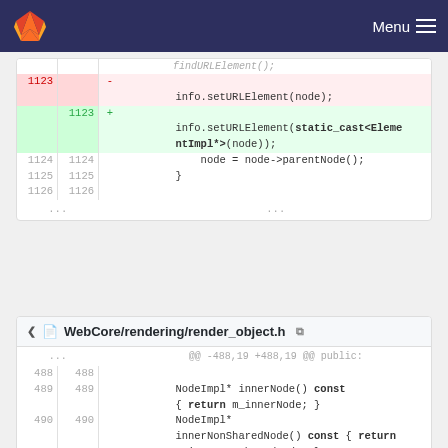GitLab — Menu
[Figure (screenshot): Code diff view showing two files. First diff (no filename shown in crop): lines 1123-1126 with deletion of info.setURLElement(node); and addition of info.setURLElement(static_cast<ElementImpl*>(node));. Second diff: WebCore/rendering/render_object.h showing lines 488-491 with NodeImpl* innerNode() and innerNonSharedNode() methods, and deletion of NodeImpl* URLElement() const.]
WebCore/rendering/render_object.h
@@ -488,19 +488,19 @@ public:
488   488
489   489        NodeImpl* innerNode() const { return m_innerNode; }
490   490        NodeImpl* innerNonSharedNode() const { return m_innerNonSharedNode; }
491        -    NodeImpl* URLElement() const